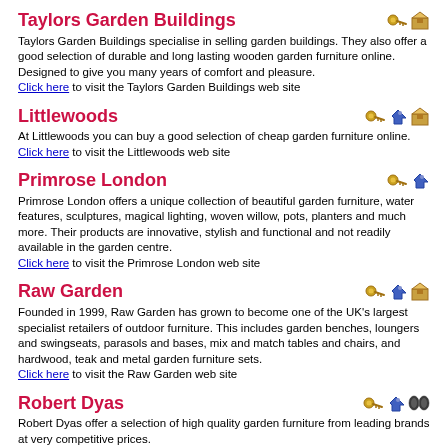Taylors Garden Buildings
Taylors Garden Buildings specialise in selling garden buildings. They also offer a good selection of durable and long lasting wooden garden furniture online. Designed to give you many years of comfort and pleasure.
Click here to visit the Taylors Garden Buildings web site
Littlewoods
At Littlewoods you can buy a good selection of cheap garden furniture online.
Click here to visit the Littlewoods web site
Primrose London
Primrose London offers a unique collection of beautiful garden furniture, water features, sculptures, magical lighting, woven willow, pots, planters and much more. Their products are innovative, stylish and functional and not readily available in the garden centre.
Click here to visit the Primrose London web site
Raw Garden
Founded in 1999, Raw Garden has grown to become one of the UK's largest specialist retailers of outdoor furniture. This includes garden benches, loungers and swingseats, parasols and bases, mix and match tables and chairs, and hardwood, teak and metal garden furniture sets.
Click here to visit the Raw Garden web site
Robert Dyas
Robert Dyas offer a selection of high quality garden furniture from leading brands at very competitive prices.